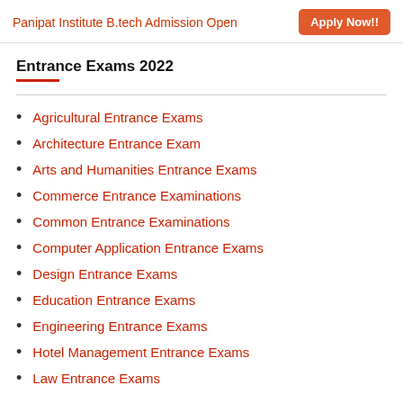Panipat Institute B.tech Admission Open  Apply Now!!
Entrance Exams 2022
Agricultural Entrance Exams
Architecture Entrance Exam
Arts and Humanities Entrance Exams
Commerce Entrance Examinations
Common Entrance Examinations
Computer Application Entrance Exams
Design Entrance Exams
Education Entrance Exams
Engineering Entrance Exams
Hotel Management Entrance Exams
Law Entrance Exams